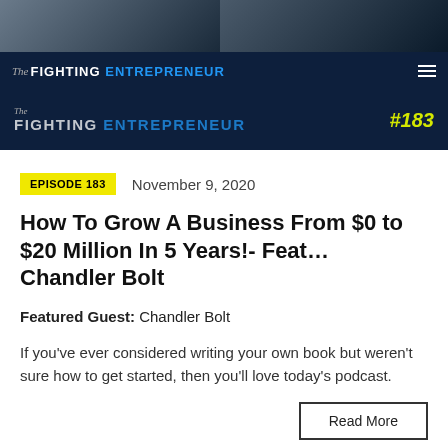[Figure (photo): Photo of podcast guests/hosts at top of page, dark background]
The Fighting ENTREPRENEUR
[Figure (logo): The Fighting Entrepreneur podcast logo banner with episode number #183]
EPISODE 183   November 9, 2020
How To Grow A Business From $0 to $20 Million In 5 Years!- Feat… Chandler Bolt
Featured Guest: Chandler Bolt
If you've ever considered writing your own book but weren't sure how to get started, then you'll love today's podcast.
Read More